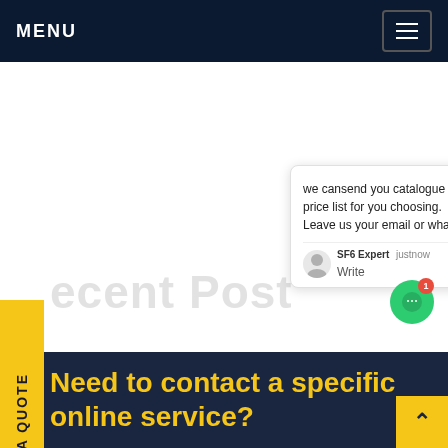MENU
REQUEST A QUOTE
[Figure (screenshot): Chat popup widget showing message: 'we cansend you catalogue and price list for you choosing. Leave us your email or whatsapp.' with SF6 Expert agent avatar and justnow timestamp, Write field with thumbs up and paperclip icons. Green circular chat bubble icon with red notification badge showing 1.]
Recent Post
Need to contact a specific online service?